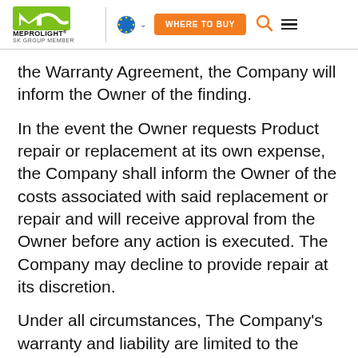MEPROLIGHT® | SK GROUP MEMBER — WHERE TO BUY navigation header
the Warranty Agreement, the Company will inform the Owner of the finding.
In the event the Owner requests Product repair or replacement at its own expense, the Company shall inform the Owner of the costs associated with said replacement or repair and will receive approval from the Owner before any action is executed. The Company may decline to provide repair at its discretion.
Under all circumstances, The Company's warranty and liability are limited to the repair